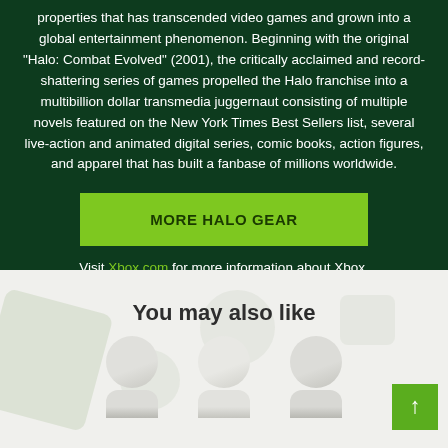properties that has transcended video games and grown into a global entertainment phenomenon. Beginning with the original "Halo: Combat Evolved" (2001), the critically acclaimed and record-shattering series of games propelled the Halo franchise into a multibillion dollar transmedia juggernaut consisting of multiple novels featured on the New York Times Best Sellers list, several live-action and animated digital series, comic books, action figures, and apparel that has built a fanbase of millions worldwide.
MORE HALO GEAR
Visit Xbox.com for more information about Xbox.
You may also like
[Figure (illustration): Three partial figures of people (tops of heads and shoulders) shown at the bottom of the page in a 'you may also like' section, against a light background with faint decorative blob shapes.]